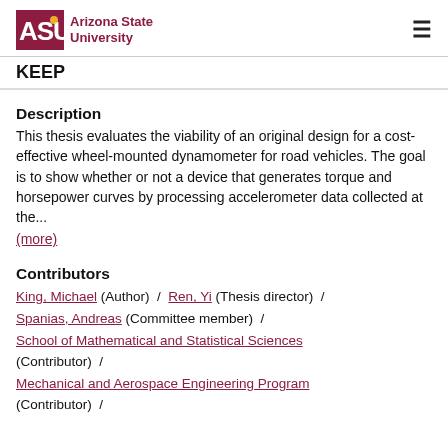Arizona State University KEEP
Description
This thesis evaluates the viability of an original design for a cost-effective wheel-mounted dynamometer for road vehicles. The goal is to show whether or not a device that generates torque and horsepower curves by processing accelerometer data collected at the...
(more)
Contributors
King, Michael (Author) / Ren, Yi (Thesis director) / Spanias, Andreas (Committee member) / School of Mathematical and Statistical Sciences (Contributor) / Mechanical and Aerospace Engineering Program (Contributor) /